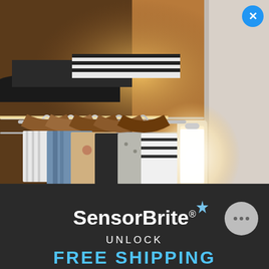[Figure (photo): A closet interior with wooden hangers holding various shirts and clothing items. Shelves above hold hats and folded items. A rectangular LED sensor light glows on the back wall, illuminating the wardrobe. Warm ambient lighting. A white door/frame is visible on the right side.]
[Figure (illustration): Blue circle close/X button in the top-right corner of the image overlay]
SensorBrite®
UNLOCK
FREE SHIPPING